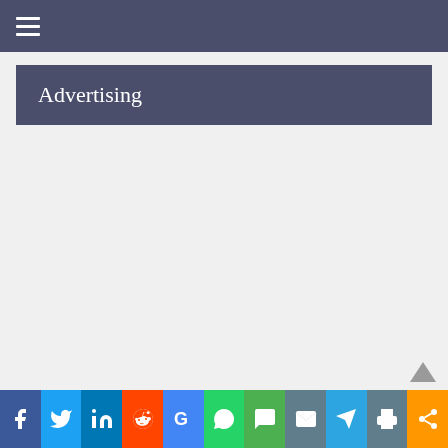≡
Advertising
[Figure (infographic): Social media sharing bar with icons: Facebook, Twitter, LinkedIn, Reddit, Google, WhatsApp, SMS, Email, Telegram, Print, Share]